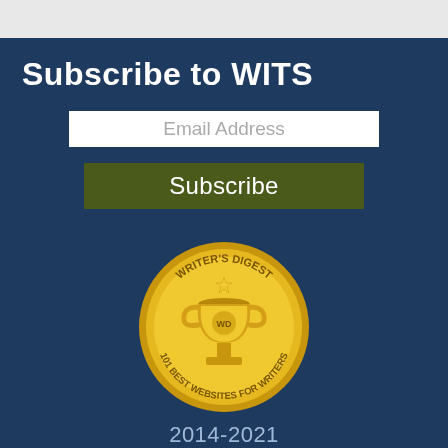Subscribe to WITS
Email Address
Subscribe
[Figure (illustration): Writer's Digest gold medal badge with trophy icon and text '101 Best Websites for Writers']
2014-2021